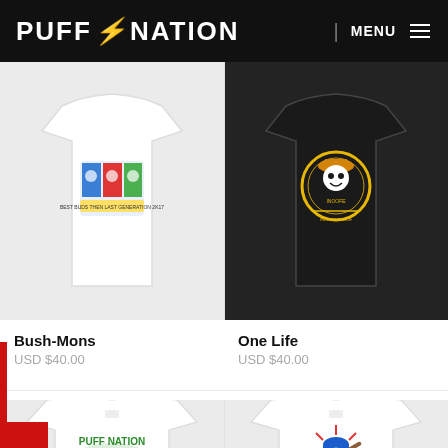PUFF NATION | MENU
[Figure (photo): White t-shirt with colorful cartoon character graphic (Bush-Mons design)]
[Figure (photo): Black t-shirt with gold circular emblem graphic (One Life design)]
Bush-Mons
USD $40.00
One Life
USD $40.00
[Figure (photo): White t-shirt with Puff Nation Think Green cactus graphic]
[Figure (photo): White t-shirt with baseball player graphic (Home Run design)]